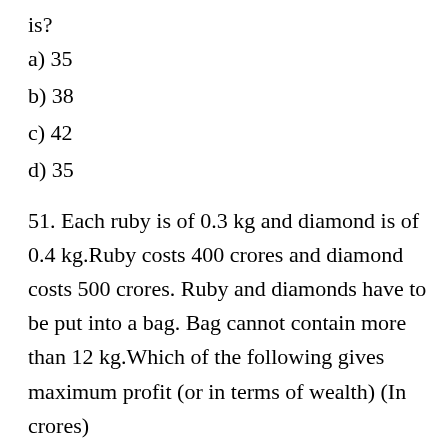is?
a) 35
b) 38
c) 42
d) 35
51. Each ruby is of 0.3 kg and diamond is of 0.4 kg.Ruby costs 400 crores and diamond costs 500 crores. Ruby and diamonds have to be put into a bag. Bag cannot contain more than 12 kg.Which of the following gives maximum profit (or in terms of wealth) (In crores)
ans …only ruby 40p
52. the cpu stack is placed in ….